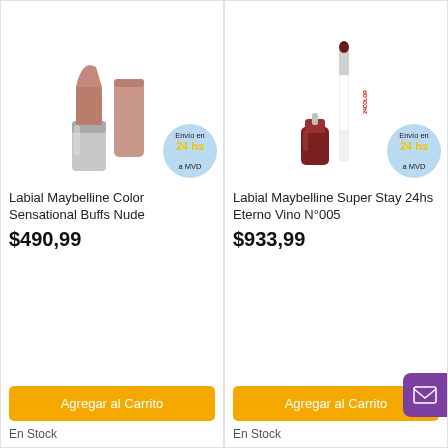[Figure (photo): Lipstick product - Maybelline Color Sensational Buffs Nude, showing lipstick tube open and cap, with 'Envío en 24 hs a MVD' badge]
Labial Maybelline Color Sensational Buffs Nude
$490,99
Agregar al Carrito
En Stock
[Figure (photo): Lip gloss/liquid lipstick product - Maybelline Super Stay 24hs Eterno Vino N°005, showing double-ended product, with 'Envío en 24 hs a MVD' badge]
Labial Maybelline Super Stay 24hs Eterno Vino N°005
$933,99
Agregar al Carrito
En Stock